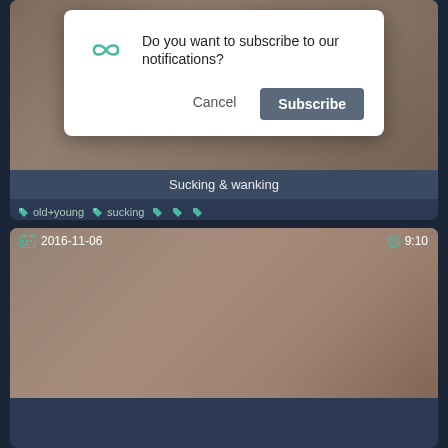[Figure (screenshot): Browser notification dialog asking 'Do you want to subscribe to our notifications?' with Cancel and Subscribe buttons, overlaid on a video content page]
Sucking & wanking
old+young  sucking
2016-11-06  9:10
[Figure (photo): Video thumbnail (blurred/censored) dated 2016-11-06 with duration 9:10]